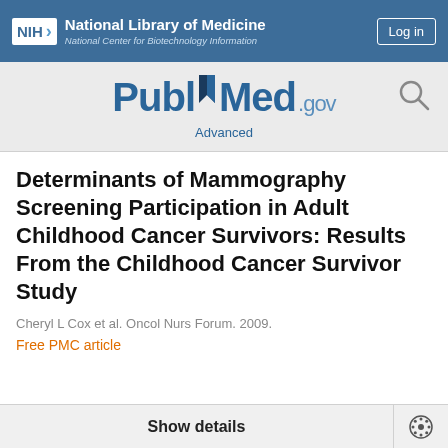NIH National Library of Medicine National Center for Biotechnology Information
[Figure (logo): PubMed.gov logo with bookmark icon and search icon, with Advanced link below]
Determinants of Mammography Screening Participation in Adult Childhood Cancer Survivors: Results From the Childhood Cancer Survivor Study
Cheryl L Cox et al. Oncol Nurs Forum. 2009.
Free PMC article
Show details